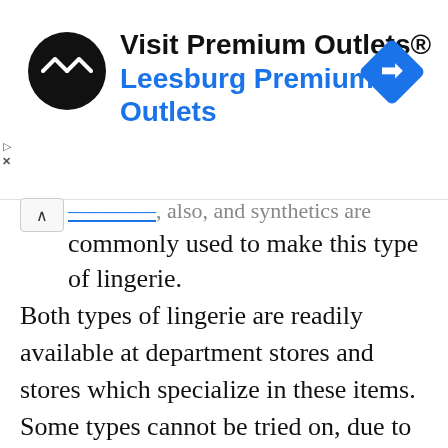[Figure (other): Advertisement banner for Visit Premium Outlets® / Leesburg Premium Outlets with circular black logo with arrow icons, blue diamond navigation icon on right, and small play/close icons on left.]
commonly used to make this type of lingerie.
Both types of lingerie are readily available at department stores and stores which specialize in these items. Some types cannot be tried on, due to hygiene issues, so women should be certain that they know their size before purchasing garments. When looking at lingerie to buy, women may also want to consider how and when they will wear it, if the material looks comfortable, and what the care